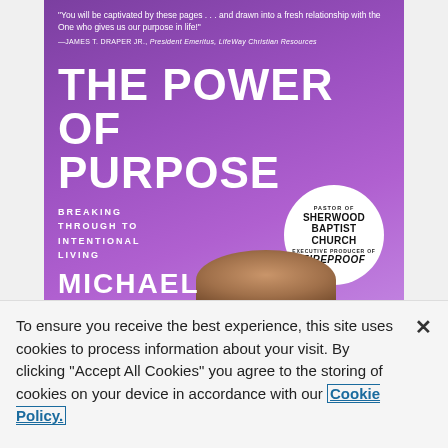[Figure (illustration): Book cover of 'The Power of Purpose: Breaking Through to Intentional Living' on a purple gradient background. Features a quote from James T. Draper Jr., the main title in large white bold text, a subtitle in smaller white uppercase text, a circular white badge stating 'Pastor of Sherwood Baptist Church, Executive Producer of FIREPROOF', and a partial author name 'MICHAEL' at the bottom with a hand holding a book.]
To ensure you receive the best experience, this site uses cookies to process information about your visit. By clicking "Accept All Cookies" you agree to the storing of cookies on your device in accordance with our Cookie Policy.